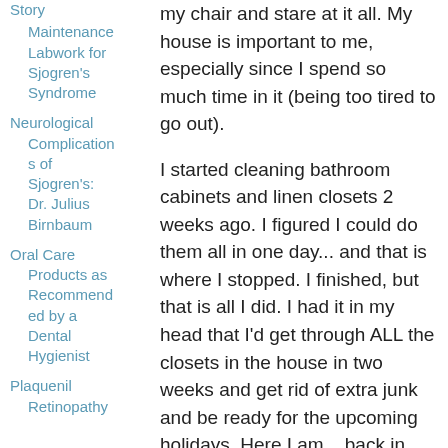Story
Maintenance Labwork for Sjogren's Syndrome
Neurological Complications of Sjogren's: Dr. Julius Birnbaum
Oral Care Products as Recommended by a Dental Hygienist
Plaquenil Retinopathy
my chair and stare at it all. My house is important to me, especially since I spend so much time in it (being too tired to go out).
I started cleaning bathroom cabinets and linen closets 2 weeks ago. I figured I could do them all in one day... and that is where I stopped. I finished, but that is all I did. I had it in my head that I'd get through ALL the closets in the house in two weeks and get rid of extra junk and be ready for the upcoming holidays. Here I am... back in the chair to stare at everything I want to do, but can't